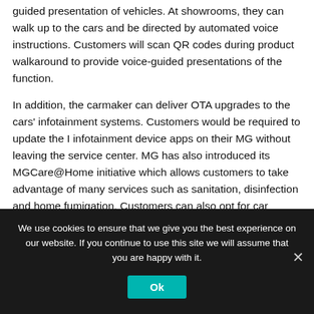guided presentation of vehicles. At showrooms, they can walk up to the cars and be directed by automated voice instructions. Customers will scan QR codes during product walkaround to provide voice-guided presentations of the function.
In addition, the carmaker can deliver OTA upgrades to the cars' infotainment systems. Customers would be required to update the I infotainment device apps on their MG without leaving the service center. MG has also introduced its MGCare@Home initiative which allows customers to take advantage of many services such as sanitation, disinfection and home fumigation. Customers can also opt for car fumigation through MG's MGerm Clean program, and in-car
We use cookies to ensure that we give you the best experience on our website. If you continue to use this site we will assume that you are happy with it.